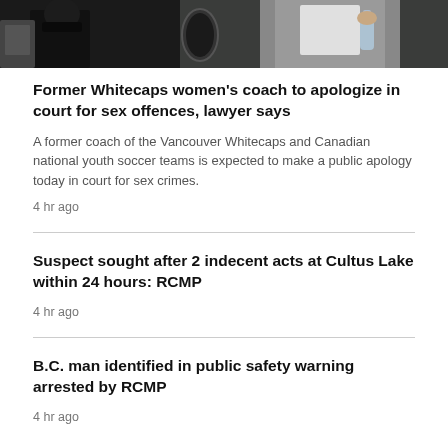[Figure (photo): Photo of a person in a grey suit holding a plastic bag near a car, partially cropped at top]
Former Whitecaps women's coach to apologize in court for sex offences, lawyer says
A former coach of the Vancouver Whitecaps and Canadian national youth soccer teams is expected to make a public apology today in court for sex crimes.
4 hr ago
Suspect sought after 2 indecent acts at Cultus Lake within 24 hours: RCMP
4 hr ago
B.C. man identified in public safety warning arrested by RCMP
4 hr ago